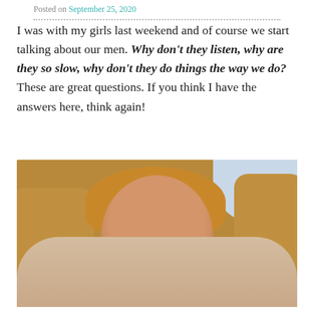Posted on September 25, 2020
I was with my girls last weekend and of course we start talking about our men. Why don’t they listen, why are they so slow, why don’t they do things the way we do? These are great questions. If you think I have the answers here, think again!
[Figure (photo): A smiling woman with long blonde hair, wearing hoop earrings and wrapped in a light pink/beige blanket or coat, sitting on a tan/camel sofa with cushions behind her. There is a light blue window or wall in the background on the right side.]